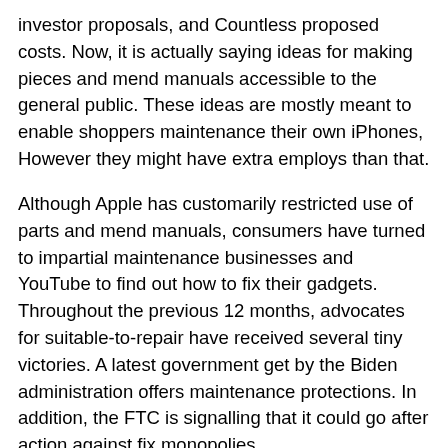investor proposals, and Countless proposed costs. Now, it is actually saying ideas for making pieces and mend manuals accessible to the general public. These ideas are mostly meant to enable shoppers maintenance their own iPhones, However they might have extra employs than that.
Although Apple has customarily restricted use of parts and mend manuals, consumers have turned to impartial maintenance businesses and YouTube to find out how to fix their gadgets. Throughout the previous 12 months, advocates for suitable-to-repair have received several tiny victories. A latest government get by the Biden administration offers maintenance protections. In addition, the FTC is signalling that it could go after action against fix monopolies.
This new application is expected to start during the US early subsequent 12 months. It is going to initially cover the iPhone twelve and iPhone thirteen lineup, but might be rolled out in other nations through 2022. Whilst Apple is intending